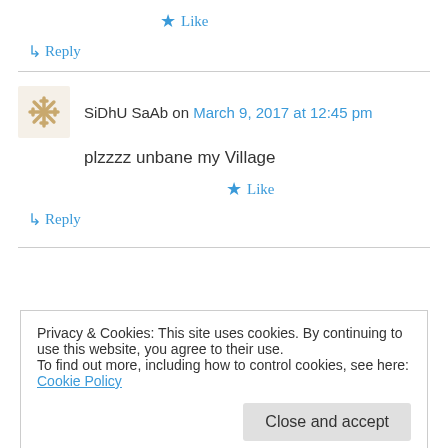★ Like
↳ Reply
SiDhU SaAb on March 9, 2017 at 12:45 pm
plzzzz unbane my Village
★ Like
↳ Reply
Privacy & Cookies: This site uses cookies. By continuing to use this website, you agree to their use.
To find out more, including how to control cookies, see here: Cookie Policy
Close and accept
★ Like